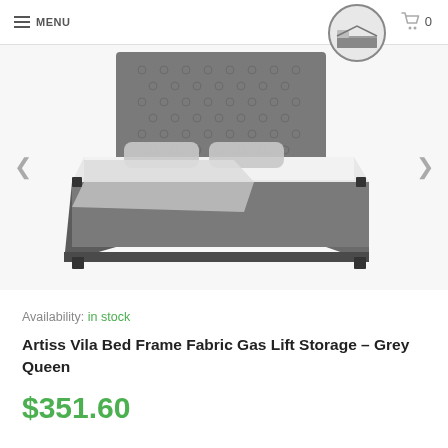≡ MENU
[Figure (photo): Grey upholstered queen bed frame with tufted headboard and gas lift storage, shown on white background. Navigation arrows left and right. Small circular thumbnail image in top right showing bed from angle with open storage.]
Availability: in stock
Artiss Vila Bed Frame Fabric Gas Lift Storage - Grey Queen
$351.60